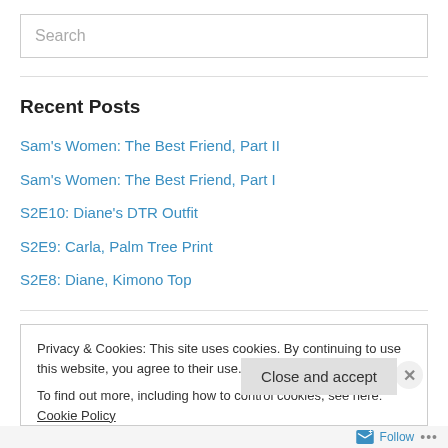Search
Recent Posts
Sam's Women: The Best Friend, Part II
Sam's Women: The Best Friend, Part I
S2E10: Diane's DTR Outfit
S2E9: Carla, Palm Tree Print
S2E8: Diane, Kimono Top
Privacy & Cookies: This site uses cookies. By continuing to use this website, you agree to their use. To find out more, including how to control cookies, see here: Cookie Policy
Close and accept
Follow ...